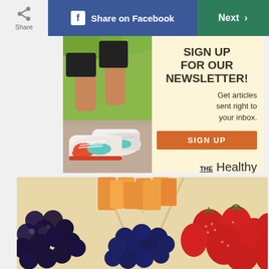Share | Share on Facebook | Next >
[Figure (photo): Newsletter signup banner with person walking in running shoes on the left, and 'SIGN UP FOR OUR NEWSLETTER! Get articles sent right to your inbox. SIGN UP' on the right with The Healthy logo]
[Figure (photo): Close-up photo of assorted fruits in a divided bowl including blueberries, strawberries, grapes, and orange/cantaloupe pieces]